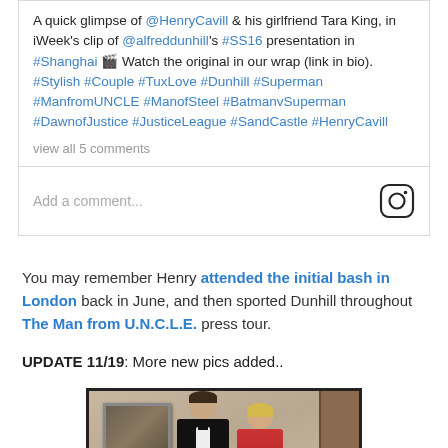A quick glimpse of @HenryCavill & his girlfriend Tara King, in iWeek's clip of @alfreddunhill's #SS16 presentation in #Shanghai 🎬 Watch the original in our wrap (link in bio). #Stylish #Couple #TuxLove #Dunhill #Superman #ManfromUNCLE #ManofSteel #BatmanvSuperman #DawnofJustice #JusticeLeague #SandCastle #HenryCavill
view all 5 comments
Add a comment...
You may remember Henry attended the initial bash in London back in June, and then sported Dunhill throughout The Man from U.N.C.L.E. press tour.
UPDATE 11/19: More new pics added..
[Figure (photo): Photo of Henry Cavill and girlfriend Tara King at an event, Henry in black tuxedo, Tara in red dress, standing before framed artwork]